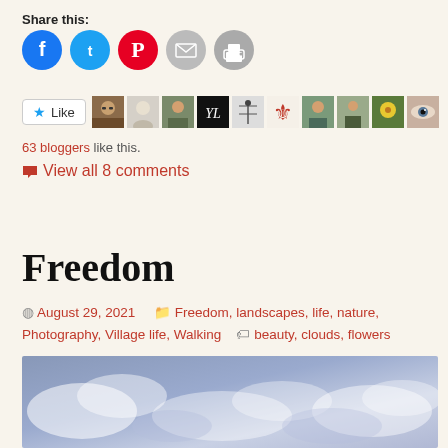Share this:
[Figure (infographic): Social share buttons: Facebook (blue circle), Twitter (light blue circle), Pinterest (red circle), Email (grey circle), Print (grey circle)]
[Figure (infographic): Like button and row of blogger avatars/icons]
63 bloggers like this.
View all 8 comments
Freedom
August 29, 2021   Freedom, landscapes, life, nature, Photography, Village life, Walking   beauty, clouds, flowers
[Figure (photo): Partial sky/clouds photograph at bottom of page, blue-purple hues]